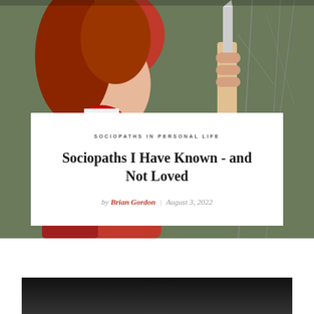[Figure (photo): A woman with red hair wearing a red hood, laughing with mouth open and tongue out, holding what appears to be a knife, standing among bare tree branches.]
SOCIOPATHS IN PERSONAL LIFE
Sociopaths I Have Known - and Not Loved
by Brian Gordon | August 3, 2022
[Figure (photo): Bottom cropped image, appears dark/black.]